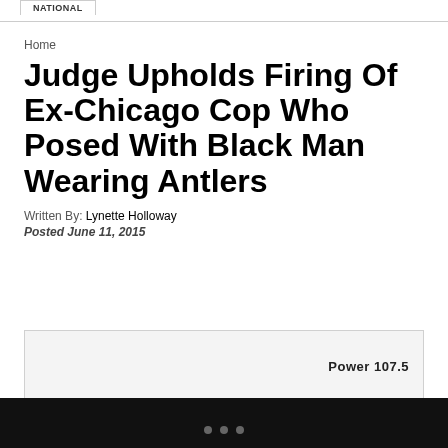NATIONAL
Home
Judge Upholds Firing Of Ex-Chicago Cop Who Posed With Black Man Wearing Antlers
Written By: Lynette Holloway
Posted June 11, 2015
[Figure (other): Advertisement box with Power 107.5 branding]
...